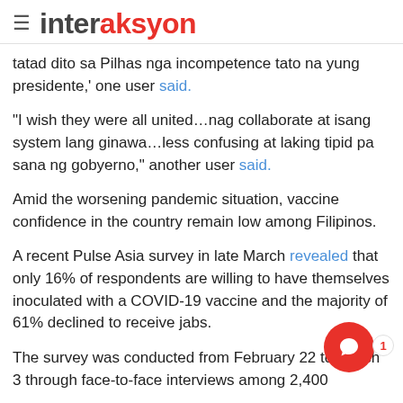interaksyon
tatad dito sa Pilhas nga incompetence tato na yung presidente,' one user said.
"I wish they were all united…nag collaborate at isang system lang ginawa…less confusing at laking tipid pa sana ng gobyerno," another user said.
Amid the worsening pandemic situation, vaccine confidence in the country remain low among Filipinos.
A recent Pulse Asia survey in late March revealed that only 16% of respondents are willing to have themselves inoculated with a COVID-19 vaccine and the majority of 61% declined to receive jabs.
The survey was conducted from February 22 to March 3 through face-to-face interviews among 2,400